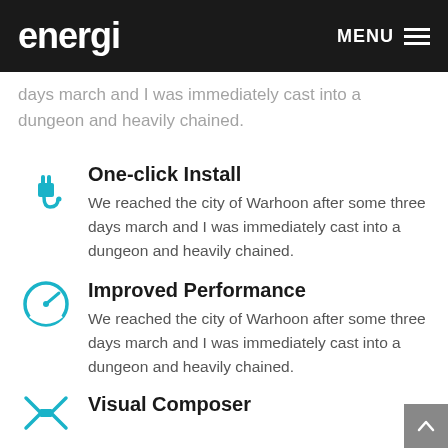energi   MENU
days march and I was immediately cast into a dungeon and heavily chained.
One-click Install
We reached the city of Warhoon after some three days march and I was immediately cast into a dungeon and heavily chained.
Improved Performance
We reached the city of Warhoon after some three days march and I was immediately cast into a dungeon and heavily chained.
Visual Composer